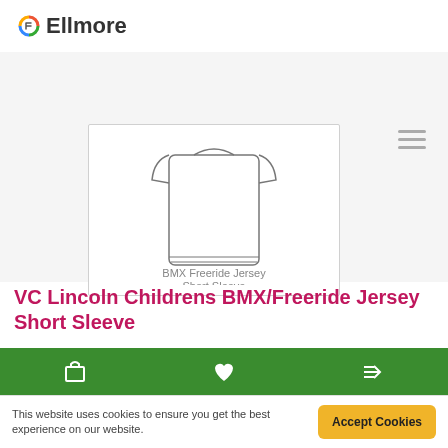Ellmore
[Figure (illustration): Line drawing of a BMX Freeride Jersey Short Sleeve garment shown front view, displayed in a product card with border]
VC Lincoln Childrens BMX/Freeride Jersey Short Sleeve
The garment of choice for BMX, DH MTB and Freeride, perfect for summer rides. This short slee..
£34.00  £42.50
Ex Tax: £34.00
This website uses cookies to ensure you get the best experience on our website.